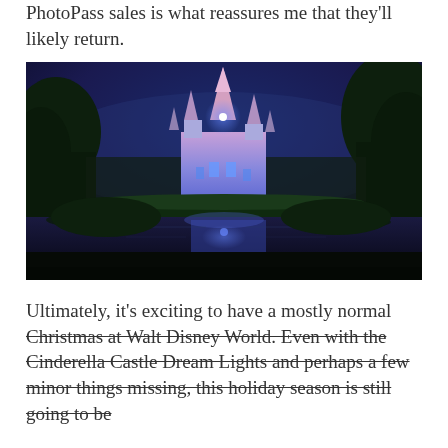PhotoPass sales is what reassures me that they'll likely return.
[Figure (photo): Cinderella Castle at Walt Disney World illuminated with blue and pink lights at night, reflected in a still moat or lake in the foreground, surrounded by trees and landscaping under a dark blue twilight sky.]
Ultimately, it's exciting to have a mostly normal Christmas at Walt Disney World. Even with the Cinderella Castle Dream Lights and perhaps a few minor things missing, this holiday season is still going to be [text cut off]